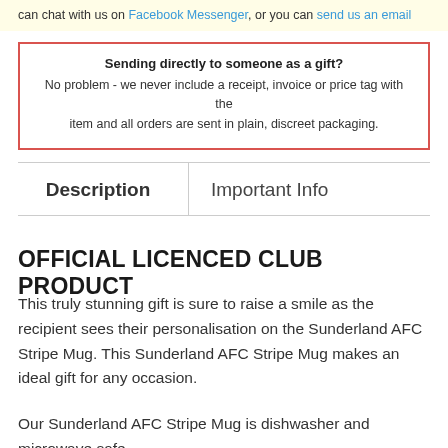can chat with us on Facebook Messenger, or you can send us an email
Sending directly to someone as a gift?
No problem - we never include a receipt, invoice or price tag with the item and all orders are sent in plain, discreet packaging.
Description | Important Info
OFFICIAL LICENCED CLUB PRODUCT
This truly stunning gift is sure to raise a smile as the recipient sees their personalisation on the Sunderland AFC Stripe Mug. This Sunderland AFC Stripe Mug makes an ideal gift for any occasion.
Our Sunderland AFC Stripe Mug is dishwasher and microwave safe.